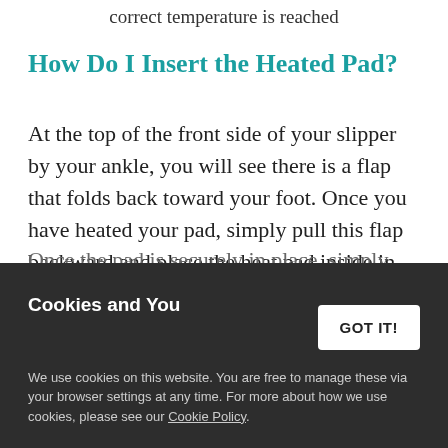correct temperature is reached
How Do I Insert the Heated Pad?
At the top of the front side of your slipper by your ankle, you will see there is a flap that folds back toward your foot. Once you have heated your pad, simply pull this flap backward and place the heat pad inside in the area above your feet.
Once the pad is securely in place, simply fold the flap back over and smooth out the top of the slipper for an even, warm fit!
Cookies and You
We use cookies on this website. You are free to manage these via your browser settings at any time. For more about how we use cookies, please see our Cookie Policy.
GOT IT!